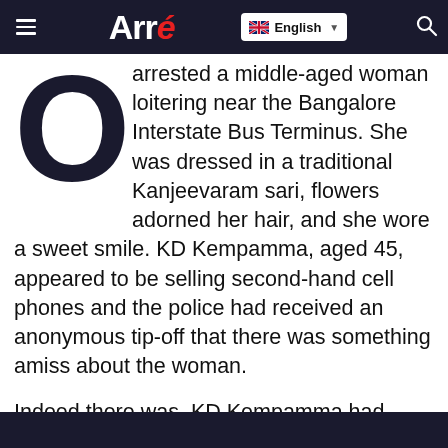Arré — English
arrested a middle-aged woman loitering near the Bangalore Interstate Bus Terminus. She was dressed in a traditional Kanjeevaram sari, flowers adorned her hair, and she wore a sweet smile. KD Kempamma, aged 45, appeared to be selling second-hand cell phones and the police had received an anonymous tip-off that there was something amiss about the woman.
Indeed there was. KD Kempamma had several aliases: Jayamma, Lakshmi, Santramma, and the